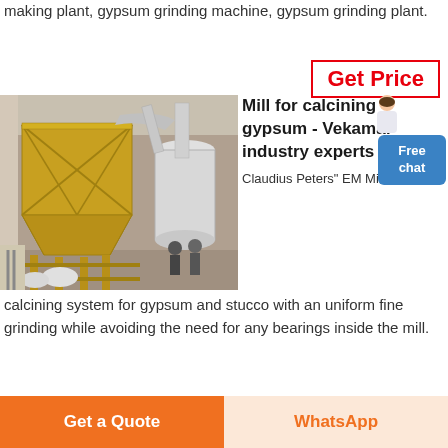making plant, gypsum grinding machine, gypsum grinding plant.
Get Price
[Figure (photo): Industrial gypsum grinding plant interior showing large yellow metal hopper/silo structure and white cylindrical mill equipment, with workers visible in background]
Mill for calcining gypsum - Vekamaf industry experts
Free chat
Claudius Peters" EM Mill is a calcining system for gypsum and stucco with an uniform fine grinding while avoiding the need for any bearings inside the mill.
Get a Quote
WhatsApp